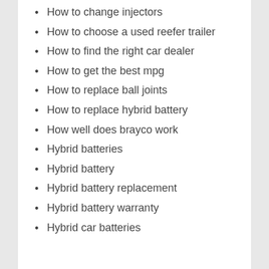How to change injectors
How to choose a used reefer trailer
How to find the right car dealer
How to get the best mpg
How to replace ball joints
How to replace hybrid battery
How well does brayco work
Hybrid batteries
Hybrid battery
Hybrid battery replacement
Hybrid battery warranty
Hybrid car batteries